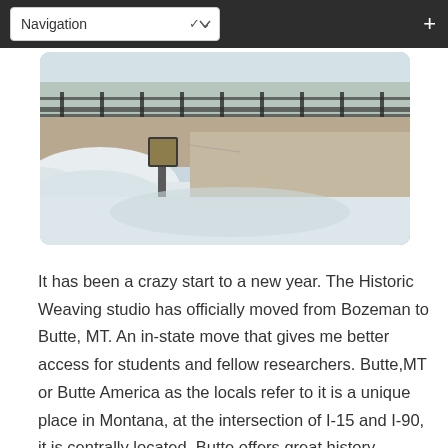Navigation
[Figure (photo): Outdoor winter scene showing a snowy street or path with a metal fence in the background, a signpost, and snow piled along the edges. Taken in Butte, MT.]
It has been a crazy start to a new year. The Historic Weaving studio has officially moved from Bozeman to Butte, MT. An in-state move that gives me better access for students and fellow researchers. Butte, MT or Butte America as the locals refer to it is a unique place in Montana, at the intersection of I-15 and I-90, it is centrally located. Butte offers great history, entertainment options, outdoor sport access, and for me the opportunity to have a studio on the Main Street – Montana